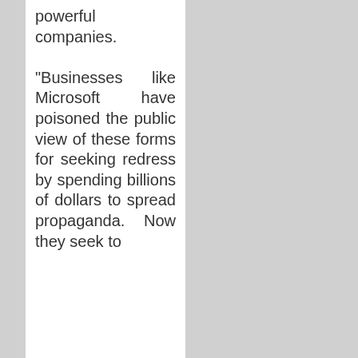powerful companies. "Businesses like Microsoft have poisoned the public view of these forms for seeking redress by spending billions of dollars to spread propaganda. Now they seek to